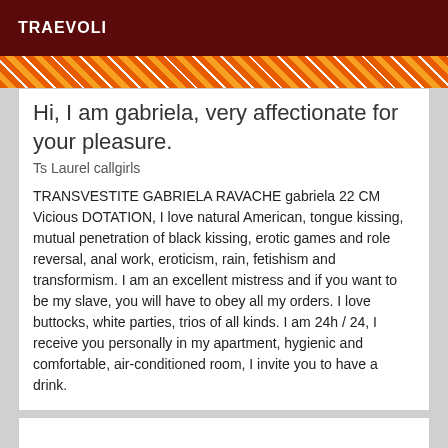TRAEVOLI
[Figure (illustration): Diagonal orange and white stripe pattern banner]
Hi, I am gabriela, very affectionate for your pleasure.
Ts Laurel callgirls
TRANSVESTITE GABRIELA RAVACHE gabriela 22 CM Vicious DOTATION, I love natural American, tongue kissing, mutual penetration of black kissing, erotic games and role reversal, anal work, eroticism, rain, fetishism and transformism. I am an excellent mistress and if you want to be my slave, you will have to obey all my orders. I love buttocks, white parties, trios of all kinds. I am 24h / 24, I receive you personally in my apartment, hygienic and comfortable, air-conditioned room, I invite you to have a drink.